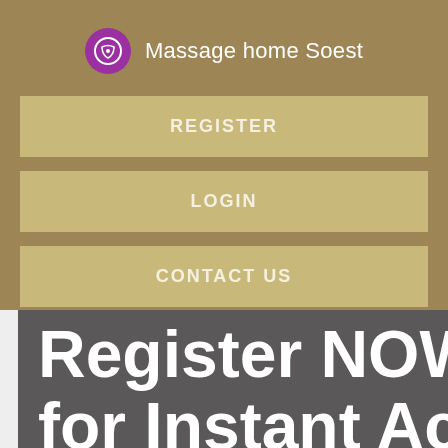Massage home Soest
REGISTER
LOGIN
CONTACT US
Register NOW for Instant Acce